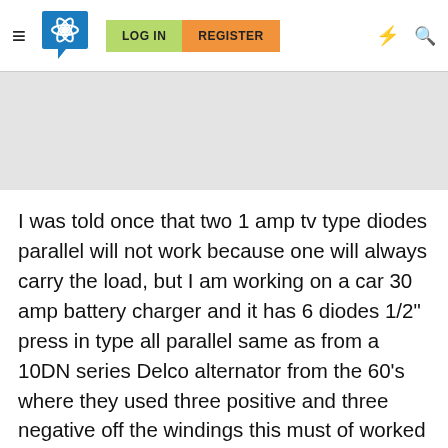Navigation bar with hamburger menu, site logo, LOG IN and REGISTER buttons, lightning and search icons
[Figure (other): Gray advertisement/banner placeholder area]
I was told once that two 1 amp tv type diodes parallel will not work because one will always carry the load, but I am working on a car 30 amp battery charger and it has 6 diodes 1/2" press in type all parallel same as from a 10DN series Delco alternator from the 60's where they used three positive and three negative off the windings this must of worked as this is the way they built it. You could probably just put